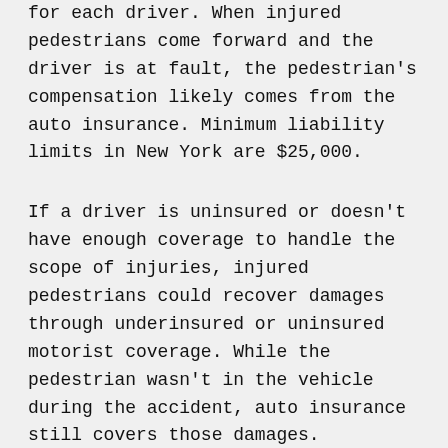for each driver. When injured pedestrians come forward and the driver is at fault, the pedestrian's compensation likely comes from the auto insurance. Minimum liability limits in New York are $25,000.
If a driver is uninsured or doesn't have enough coverage to handle the scope of injuries, injured pedestrians could recover damages through underinsured or uninsured motorist coverage. While the pedestrian wasn't in the vehicle during the accident, auto insurance still covers those damages.
Both underinsured and uninsured motorist coverage plans put limits on how much can be recovered for pedestrian accidents. Each accident is unique, so it's hard to determine exact dates and amounts for compensation. Proving fault is crucial for a